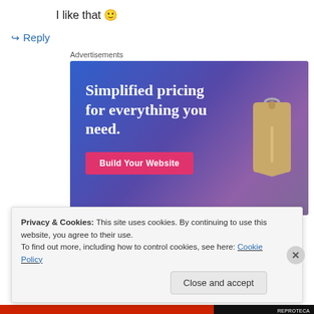I like that 🙂
↪ Reply
Advertisements
[Figure (illustration): Advertisement banner with gradient blue-purple background. Text reads 'Simplified pricing for everything you need.' with a pink 'Build Your Website' button and a luggage tag graphic on the right.]
Privacy & Cookies: This site uses cookies. By continuing to use this website, you agree to their use.
To find out more, including how to control cookies, see here: Cookie Policy
Close and accept